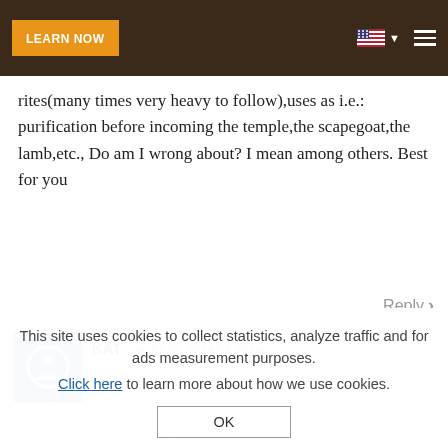LEARN NOW
rites(many times very heavy to follow),uses as i.e.: purification before incoming the temple,the scapegoat,the lamb,etc., Do am I wrong about? I mean among others. Best for you
Reply >
KAT on Jul 28, 2014 05:30 pm
I have always been under separation of church...
This site uses cookies to collect statistics, analyze traffic and for ads measurement purposes. Click here to learn more about how we use cookies.
OK
What did they see as the differences?
Reply >